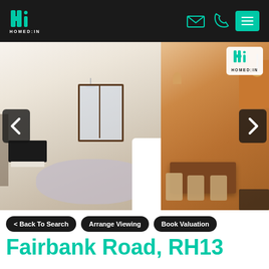[Figure (logo): HOMED:IN logo in white on dark header, teal H·i monogram with text HOMED:IN below]
[Figure (photo): Interior photo of a bright open-plan living and dining room with carpet area, TV unit, wooden dining table and chairs, warm lighting. Left panel shows living room, right panel shows dining area. HOMED:IN watermark in top right corner. Navigation arrows on left and right sides.]
< Back To Search
Arrange Viewing
Book Valuation
Fairbank Road, RH13